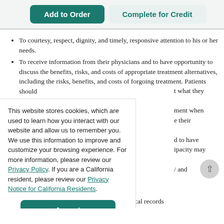[Figure (screenshot): Two UI buttons: 'Add to Order' (teal/dark green, filled) and 'Complete for Credit' (light teal, outlined background)]
To courtesy, respect, dignity, and timely, responsive attention to his or her needs.
To receive information from their physicians and to have opportunity to discuss the benefits, risks, and costs of appropriate treatment alternatives, including the risks, benefits, and costs of forgoing treatment. Patients should [t what they]
This website stores cookies, which are used to learn how you interact with our website and allow us to remember you. We use this information to improve and customize your browsing experience. For more information, please review our Privacy Policy. If you are a California resident, please review our Privacy Notice for California Residents.
[Figure (screenshot): Accept button (teal rounded rectangle)]
To obtain copies or summaries of their medical records